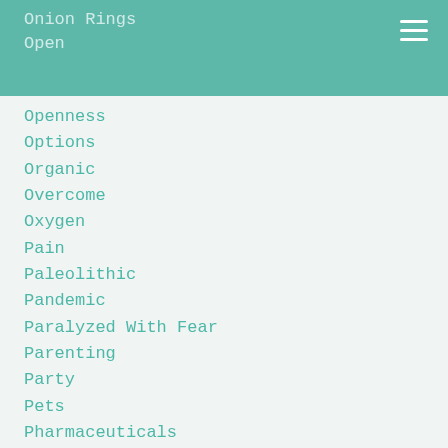Onion Rings
Open
Openness
Options
Organic
Overcome
Oxygen
Pain
Paleolithic
Pandemic
Paralyzed With Fear
Parenting
Party
Pets
Pharmaceuticals
Pilates
Plan
Planning
Plans Change
Play
Playing